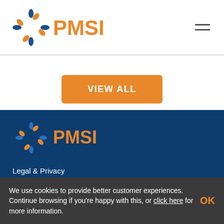[Figure (logo): PMSI logo with colorful asterisk/snowflake icon and orange PMSI text, white background header]
VIEW ALL
[Figure (logo): PMSI logo with colorful asterisk/snowflake icon and orange PMSI text, dark blue background footer]
Legal & Privacy
Contact us
Sitemap
We use cookies to provide better customer experiences. Continue browsing if you're happy with this, or click here for more information.
OK